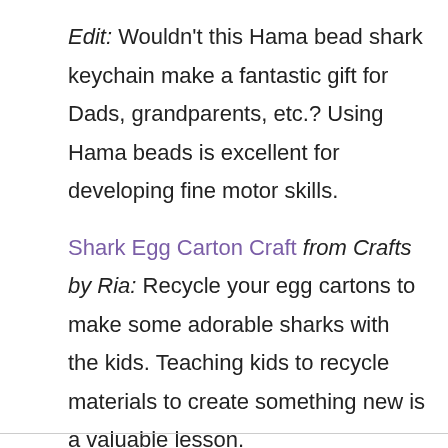Edit: Wouldn't this Hama bead shark keychain make a fantastic gift for Dads, grandparents, etc.? Using Hama beads is excellent for developing fine motor skills.
Shark Egg Carton Craft from Crafts by Ria: Recycle your egg cartons to make some adorable sharks with the kids. Teaching kids to recycle materials to create something new is a valuable lesson.